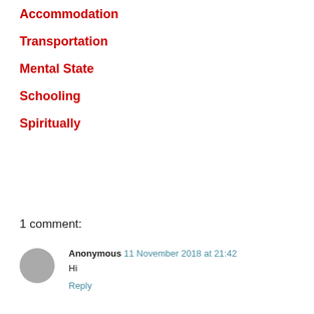Accommodation
Transportation
Mental State
Schooling
Spiritually
1 comment:
Anonymous 11 November 2018 at 21:42
Hi
Reply